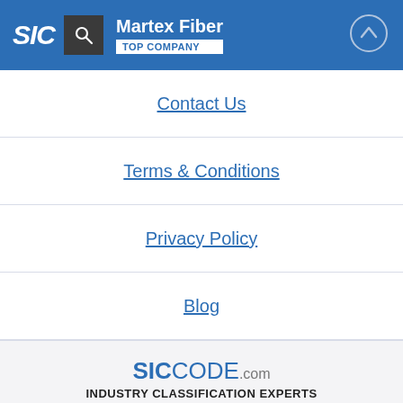SIC | Martex Fiber | TOP COMPANY
Contact Us
Terms & Conditions
Privacy Policy
Blog
SICCODE.com INDUSTRY CLASSIFICATION EXPERTS Copyright 2022 © SICCODE.com